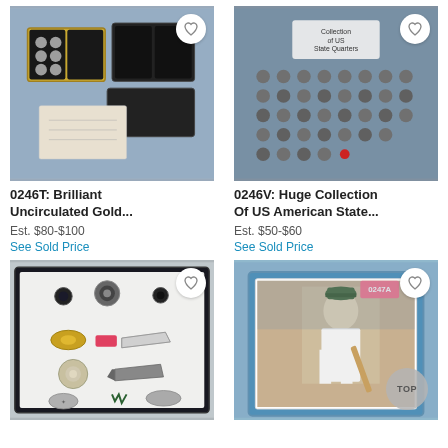[Figure (photo): Collection of coin sets in gold and black cases displayed on blue fabric]
[Figure (photo): Large collection of US American State quarters arranged in rows on blue display board]
0246T: Brilliant Uncirculated Gold...
Est. $80-$100
See Sold Price
0246V: Huge Collection Of US American State...
Est. $50-$60
See Sold Price
[Figure (photo): Collection of vintage brooches and pins displayed on white foam board]
[Figure (photo): Vintage baseball card of a player batting, in a blue frame with label 0247A]